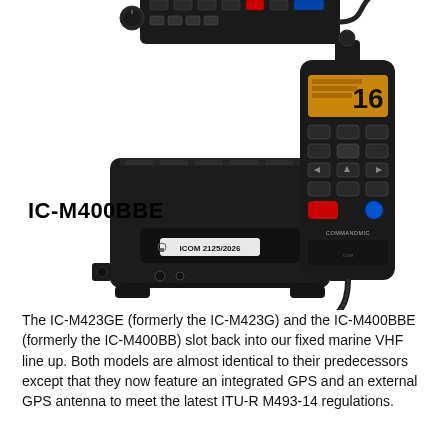[Figure (photo): Product photo showing ICOM IC-M400BBE black box VHF marine radio unit with a handheld COMMANDMIC controller. Above is a partial view of another ICOM radio handset. The label 'IC-M400BBE' appears to the left of the product images.]
The IC-M423GE (formerly the IC-M423G) and the IC-M400BBE (formerly the IC-M400BB) slot back into our fixed marine VHF line up. Both models are almost identical to their predecessors except that they now feature an integrated GPS and an external GPS antenna to meet the latest ITU-R M493-14 regulations.